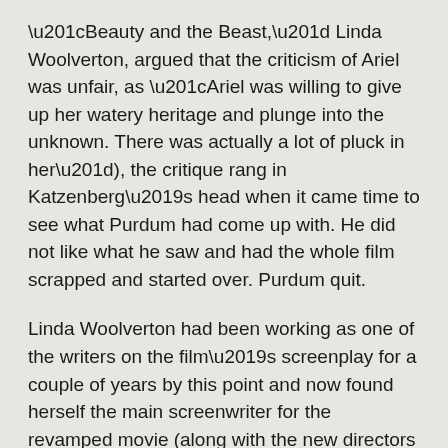“Beauty and the Beast,” Linda Woolverton, argued that the criticism of Ariel was unfair, as “Ariel was willing to give up her watery heritage and plunge into the unknown. There was actually a lot of pluck in her”), the critique rang in Katzenberg’s head when it came time to see what Purdum had come up with. He did not like what he saw and had the whole film scrapped and started over. Purdum quit.
Linda Woolverton had been working as one of the writers on the film’s screenplay for a couple of years by this point and now found herself the main screenwriter for the revamped movie (along with the new directors of the film, Kirk Wise and Gary Trousdale). Disney senior vice president of feature animation, Peter Schneider, described their revamp of Belle, “Belle is an independent heroine who wanted